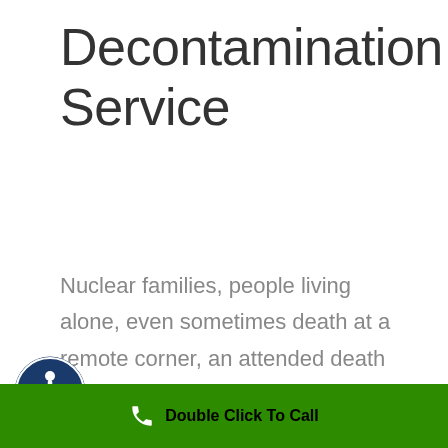Decontamination Service
Nuclear families, people living alone, even sometimes death at a remote corner, an unattended death cleanup leads to a variety of complications. Many aspects must be taken into account to provide quality unattended death clean up services and to
Double Click To Call